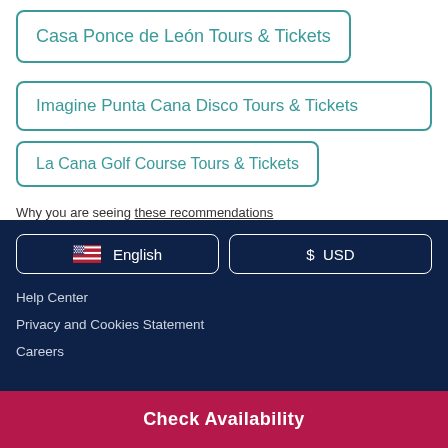Casa Ponce de León Tours & Tickets
Imagine Punta Cana Disco Tours & Tickets
La Cana Golf Course Tours & Tickets
Why you are seeing these recommendations
🇺🇸 English
$ USD
Help Center
Privacy and Cookies Statement
Careers
Check Availability